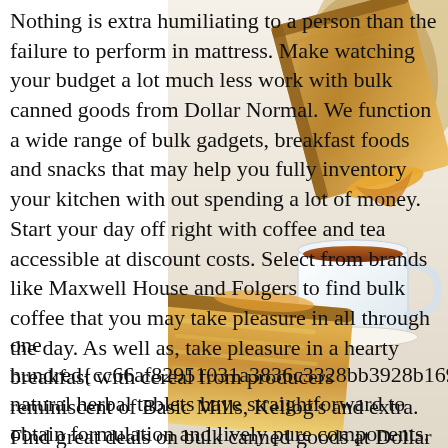[Figure (photo): A photo of a toasted grilled cheese sandwich slice and a white cup filled with amber liquid (tea/coffee), shot from an angle showing the sandwich in the foreground and the cup in the background on a light surface.]
Nothing is extra humiliating to a person than the failure to perform in mattress. Make watching your budget a lot much less work with bulk canned goods from Dollar Normal. We function a wide range of bulk gadgets, breakfast foods and snacks that may help you fully inventory your kitchen with out spending a lot of money. Start your day off right with coffee and tea accessible at discount costs. Select from brands like Maxwell House and Folgers to find bulk coffee that you may take pleasure in all through the day. As well as, take pleasure in a hearty breakfast with cereal from producers reminiscent of Basic Mills, Kellog's and extra. Find great deals on bulk canned goods at Dollar Basic.
one hundred{cc66af82951031a3836c3328bb3928b169cf35fdo2d natural herbal tablets have straightforward to obtain formulation and lively pure components. They're